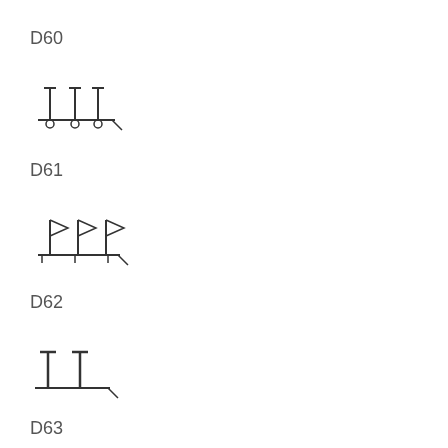D60
[Figure (schematic): Engineering schematic symbol D60: three vertical posts on a horizontal base with a small diagonal element at bottom right]
D61
[Figure (schematic): Engineering schematic symbol D61: three flag-like elements on a horizontal base with a small diagonal element at bottom right]
D62
[Figure (schematic): Engineering schematic symbol D62: two vertical posts with horizontal caps on a base, with a small diagonal element at bottom right]
D63